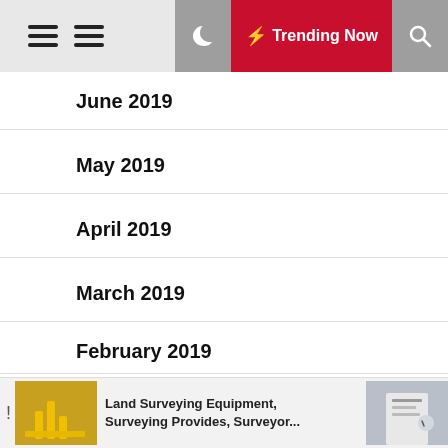Navigation bar with hamburger menus, moon/dark mode, Trending Now, and search icons
June 2019
May 2019
April 2019
March 2019
February 2019
January 2019
December 2018
Land Surveying Equipment, Surveying Provides, Surveyor...